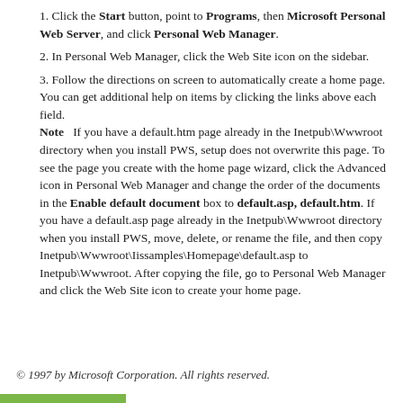Click the Start button, point to Programs, then Microsoft Personal Web Server, and click Personal Web Manager.
In Personal Web Manager, click the Web Site icon on the sidebar.
Follow the directions on screen to automatically create a home page. You can get additional help on items by clicking the links above each field. Note   If you have a default.htm page already in the Inetpub\Wwwroot directory when you install PWS, setup does not overwrite this page. To see the page you create with the home page wizard, click the Advanced icon in Personal Web Manager and change the order of the documents in the Enable default document box to default.asp, default.htm. If you have a default.asp page already in the Inetpub\Wwwroot directory when you install PWS, move, delete, or rename the file, and then copy Inetpub\Wwwroot\Iissamples\Homepage\default.asp to Inetpub\Wwwroot. After copying the file, go to Personal Web Manager and click the Web Site icon to create your home page.
© 1997 by Microsoft Corporation. All rights reserved.